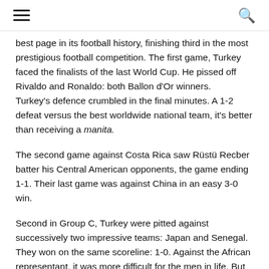[hamburger menu] [search icon]
best page in its football history, finishing third in the most prestigious football competition. The first game, Turkey faced the finalists of the last World Cup. He pissed off Rivaldo and Ronaldo: both Ballon d'Or winners.
Turkey's defence crumbled in the final minutes. A 1-2 defeat versus the best worldwide national team, it's better than receiving a manita.
The second game against Costa Rica saw Rüstü Recber batter his Central American opponents, the game ending 1-1. Their last game was against China in an easy 3-0 win.
Second in Group C, Turkey were pitted against successively two impressive teams: Japan and Senegal. They won on the same scoreline: 1-0. Against the African representant, it was more difficult for the men in life. But somehow, they had to...